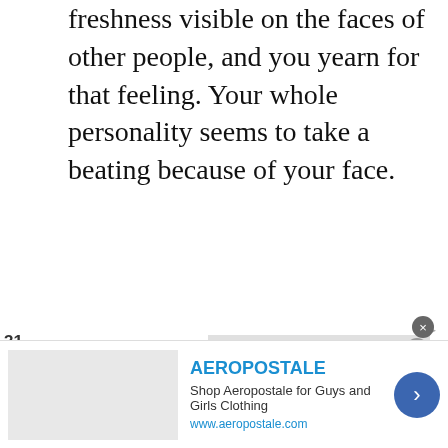freshness visible on the faces of other people, and you yearn for that feeling. Your whole personality seems to take a beating because of your face.
31 SHARES
Read: Characteristics Of Oily Skin
[Figure (screenshot): Gray advertisement banner placeholder]
[Figure (screenshot): Aeropostale advertisement banner with logo image, title, description and arrow button]